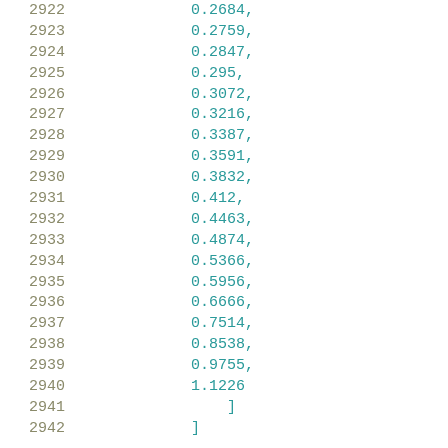2922    0.2684,
2923    0.2759,
2924    0.2847,
2925    0.295,
2926    0.3072,
2927    0.3216,
2928    0.3387,
2929    0.3591,
2930    0.3832,
2931    0.412,
2932    0.4463,
2933    0.4874,
2934    0.5366,
2935    0.5956,
2936    0.6666,
2937    0.7514,
2938    0.8538,
2939    0.9755,
2940    1.1226
2941    ]
2942    ]